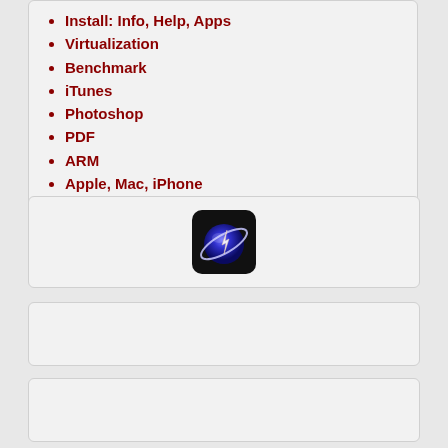Install: Info, Help, Apps
Virtualization
Benchmark
iTunes
Photoshop
PDF
ARM
Apple, Mac, iPhone
Ubuntu
Microsoft
[Figure (logo): Application icon with dark background showing a glowing planet/globe with a lightning bolt or cursor overlay, on a black rounded-square background]